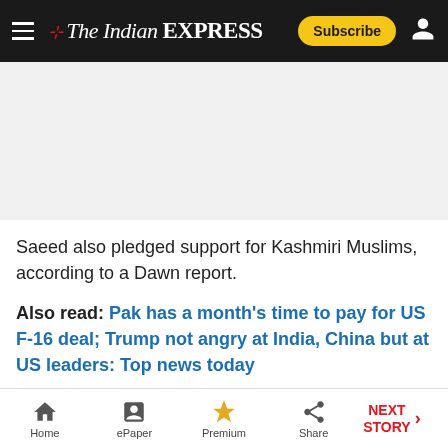The Indian Express — Subscribe
[Figure (other): Advertisement banner placeholder (gray background)]
Saeed also pledged support for Kashmiri Muslims, according to a Dawn report.
Also read: Pak has a month's time to pay for US F-16 deal; Trump not angry at India, China but at US leaders: Top news today
He said the law enforcement agencies were sincerely trying
Home | ePaper | Premium | Share | NEXT STORY